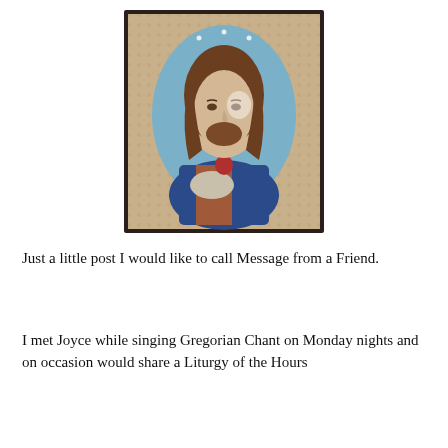[Figure (photo): A framed religious image of Jesus Christ showing the Sacred Heart, with long brown hair and blue robes, set in an oval portrait against a decorative background. The image appears to be a vintage print in a dark frame.]
Just a little post I would like to call Message from a Friend.
I met Joyce while singing Gregorian Chant on Monday nights and on occasion would share a Liturgy of the Hours